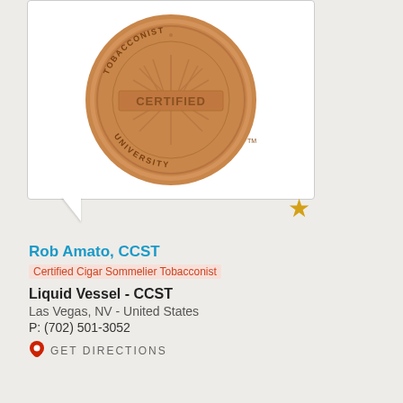[Figure (logo): Circular bronze/copper colored certified tobacconist university seal coin with text 'TOBACCONIST UNIVERSITY' around the rim and 'CERTIFIED' across the center with radiating lines]
Rob Amato, CCST
Certified Cigar Sommelier Tobacconist
Liquid Vessel - CCST
Las Vegas, NV - United States
P: (702) 501-3052
GET DIRECTIONS